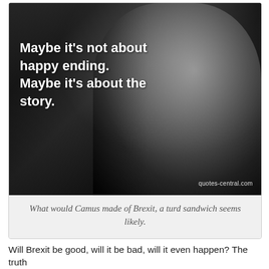[Figure (photo): Black and white photo of a man (resembling Albert Camus) smoking a cigarette, with overlaid white bold text quote: 'Maybe it's not about happy ending. Maybe it's about the story.' Watermark reads 'quotes-central.com']
What would Camus made of Brexit, a turd sandwich seems likely.
Will Brexit be good, will it be bad, will it even happen? The truth